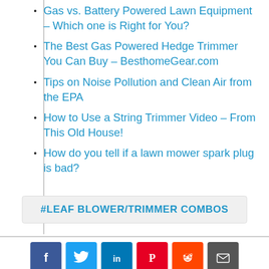Gas vs. Battery Powered Lawn Equipment – Which one is Right for You?
The Best Gas Powered Hedge Trimmer You Can Buy – BesthomeGear.com
Tips on Noise Pollution and Clean Air from the EPA
How to Use a String Trimmer Video – From This Old House!
How do you tell if a lawn mower spark plug is bad?
#LEAF BLOWER/TRIMMER COMBOS
[Figure (other): Row of social media share buttons: Facebook (blue), Twitter (light blue), LinkedIn (dark blue), Pinterest (red), Reddit (orange-red), Email (dark grey)]